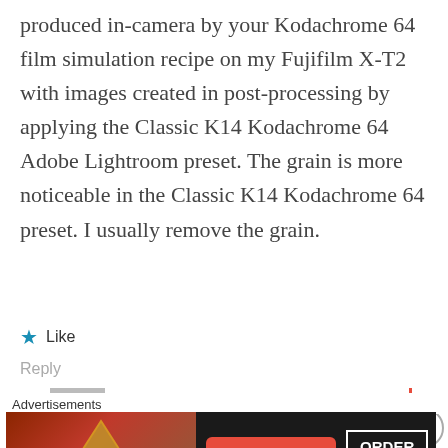produced in-camera by your Kodachrome 64 film simulation recipe on my Fujifilm X-T2 with images created in post-processing by applying the Classic K14 Kodachrome 64 Adobe Lightroom preset. The grain is more noticeable in the Classic K14 Kodachrome 64 preset. I usually remove the grain.
★ Like
Reply
[Figure (photo): User avatar with stylized X icon]
Ritchie Roesch · December 6, 2019
Advertisements
[Figure (photo): Seamless food delivery advertisement banner with pizza image, Seamless logo, and ORDER NOW button]